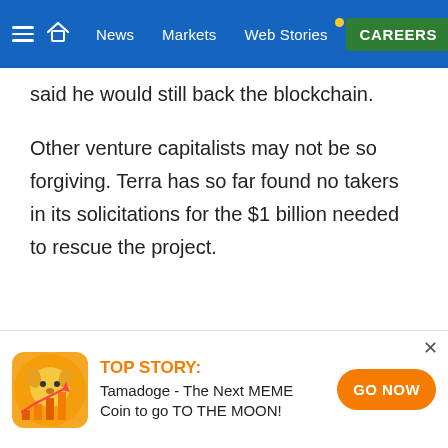News | Markets | Web Stories | CAREERS
said he would still back the blockchain.
Other venture capitalists may not be so forgiving. Terra has so far found no takers in its solicitations for the $1 billion needed to rescue the project.
[Figure (other): Tamadoge advertisement banner with dog coin mascot icon, orange text 'TOP STORY:', description 'Tamadoge - The Next MEME Coin to go TO THE MOON!', and orange 'GO NOW' button]